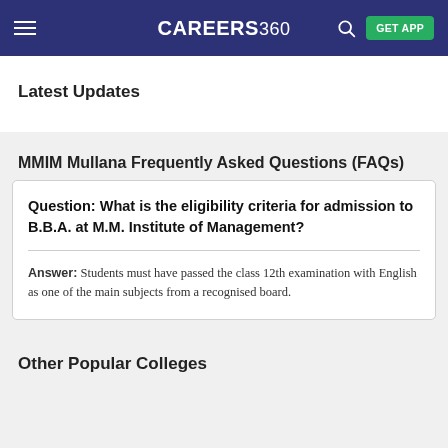CAREERS360
Latest Updates
MMIM Mullana Frequently Asked Questions (FAQs)
Question: What is the eligibility criteria for admission to B.B.A. at M.M. Institute of Management?
Answer: Students must have passed the class 12th examination with English as one of the main subjects from a recognised board.
Other Popular Colleges